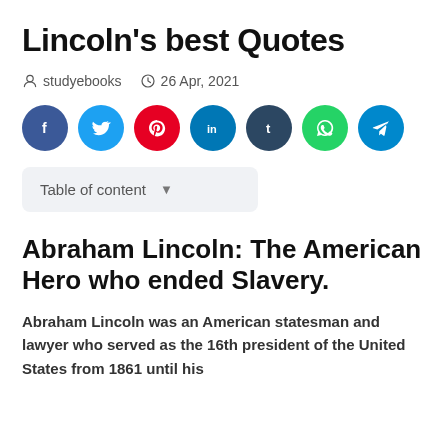Lincoln's best Quotes
studyebooks  26 Apr, 2021
[Figure (other): Social media share buttons: Facebook (blue), Twitter (light blue), Pinterest (red), LinkedIn (dark blue), Tumblr (dark navy), WhatsApp (green), Telegram (blue)]
Table of content
Abraham Lincoln: The American Hero who ended Slavery.
Abraham Lincoln was an American statesman and lawyer who served as the 16th president of the United States from 1861 until his